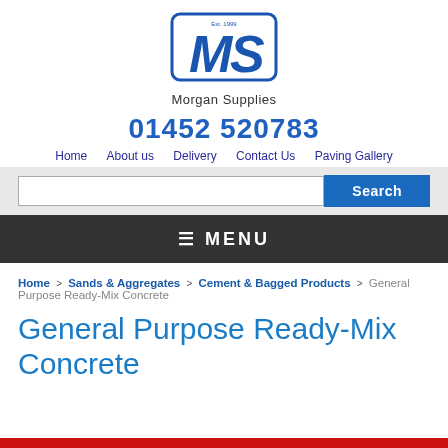[Figure (logo): Morgan Supplies logo with stylized MS monogram in blue and text 'Morgan Supplies' below]
01452 520783
Home   About us   Delivery   Contact Us   Paving Gallery
[Figure (screenshot): Search bar with text input and blue Search button]
≡ MENU
Home > Sands & Aggregates > Cement & Bagged Products > General Purpose Ready-Mix Concrete
General Purpose Ready-Mix Concrete